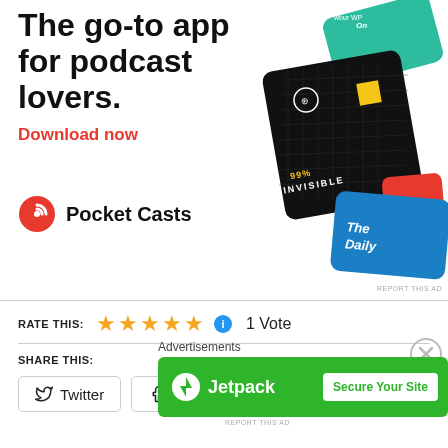[Figure (illustration): Pocket Casts advertisement showing podcast app cards including 99% Invisible and The Daily, with title 'The go-to app for podcast lovers.' and red 'Download now' link and Pocket Casts logo]
RATE THIS: ★★★★★ ℹ 1 Vote
SHARE THIS:
Twitter
Facebook
Advertisements
[Figure (illustration): Jetpack advertisement banner with green background, Jetpack logo, and 'Secure Your Site' white button]